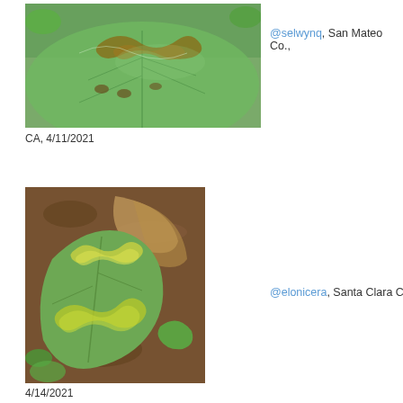[Figure (photo): Close-up photo of large green leaves with brown serpentine leaf miner trails and small circular marks on the leaf surface]
@selwynq, San Mateo Co., CA, 4/11/2021
[Figure (photo): Photo of green leaves on soil/mulch background with distinctive wavy yellowish-green leaf miner trails on the leaves]
@elonicera, Santa Clara Co., CA, 4/14/2021